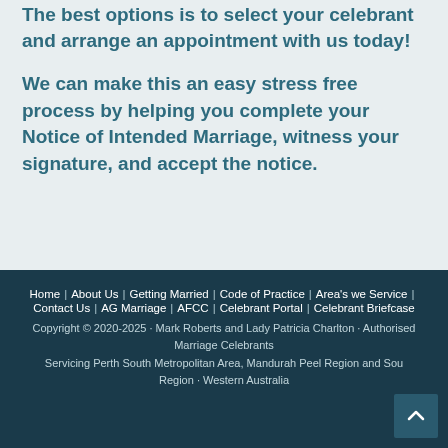The best options is to select your celebrant and arrange an appointment with us today!
We can make this an easy stress free process by helping you complete your Notice of Intended Marriage, witness your signature, and accept the notice.
Home | About Us | Getting Married | Code of Practice | Area's we Service | Contact Us | AG Marriage | AFCC | Celebrant Portal | Celebrant Briefcase
Copyright © 2020-2025 · Mark Roberts and Lady Patricia Charlton · Authorised Marriage Celebrants
Servicing Perth South Metropolitan Area, Mandurah Peel Region and South Region · Western Australia